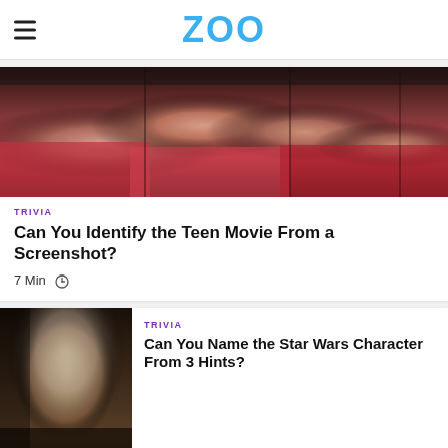ZOO
[Figure (photo): Group of women in red outfits, faces close together — teen movie screenshot]
TRIVIA
Can You Identify the Teen Movie From a Screenshot?
7 Min
[Figure (photo): Older man with long white-gray hair and beard, serious expression — Star Wars character]
TRIVIA
Can You Name the Star Wars Character From 3 Hints?